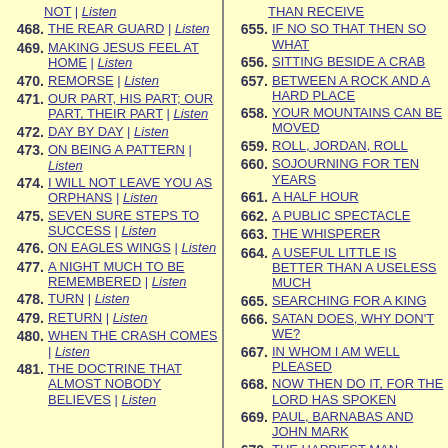NOT | Listen
468. THE REAR GUARD | Listen
469. MAKING JESUS FEEL AT HOME | Listen
470. REMORSE | Listen
471. OUR PART, HIS PART; OUR PART, THEIR PART | Listen
472. DAY BY DAY | Listen
473. ON BEING A PATTERN | Listen
474. I WILL NOT LEAVE YOU AS ORPHANS | Listen
475. SEVEN SURE STEPS TO SUCCESS | Listen
476. ON EAGLES WINGS | Listen
477. A NIGHT MUCH TO BE REMEMBERED | Listen
478. TURN | Listen
479. RETURN | Listen
480. WHEN THE CRASH COMES | Listen
481. THE DOCTRINE THAT ALMOST NOBODY BELIEVES | Listen
THAN RECEIVE
655. IF NO SO THAT THEN SO WHAT
656. SITTING BESIDE A CRAB
657. BETWEEN A ROCK AND A HARD PLACE
658. YOUR MOUNTAINS CAN BE MOVED
659. ROLL, JORDAN, ROLL
660. SOJOURNING FOR TEN YEARS
661. A HALF HOUR
662. A PUBLIC SPECTACLE
663. THE WHISPERER
664. A USEFUL LITTLE IS BETTER THAN A USELESS MUCH
665. SEARCHING FOR A KING
666. SATAN DOES, WHY DON'T WE?
667. IN WHOM I AM WELL PLEASED
668. NOW THEN DO IT, FOR THE LORD HAS SPOKEN
669. PAUL, BARNABAS AND JOHN MARK
670. THE HAPPIEST MAN